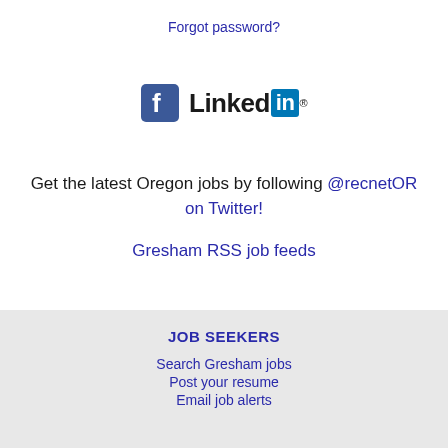Forgot password?
[Figure (logo): Facebook and LinkedIn social media logos side by side]
Get the latest Oregon jobs by following @recnetOR on Twitter!
Gresham RSS job feeds
JOB SEEKERS
Search Gresham jobs
Post your resume
Email job alerts